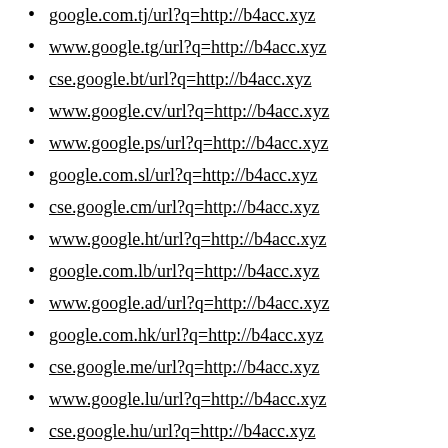google.com.tj/url?q=http://b4acc.xyz
www.google.tg/url?q=http://b4acc.xyz
cse.google.bt/url?q=http://b4acc.xyz
www.google.cv/url?q=http://b4acc.xyz
www.google.ps/url?q=http://b4acc.xyz
google.com.sl/url?q=http://b4acc.xyz
cse.google.cm/url?q=http://b4acc.xyz
www.google.ht/url?q=http://b4acc.xyz
google.com.lb/url?q=http://b4acc.xyz
www.google.ad/url?q=http://b4acc.xyz
google.com.hk/url?q=http://b4acc.xyz
cse.google.me/url?q=http://b4acc.xyz
www.google.lu/url?q=http://b4acc.xyz
cse.google.hu/url?q=http://b4acc.xyz
cse.google.bg/url?q=http://b4acc.xyz
google.com.vn/url?q=http://b4acc.xyz
cse.google.kg/url?q=http://b4acc.xyz
google.com.mx/url?q=http://b4acc.xyz
google.com.gt/url?q=http://b4acc.xyz